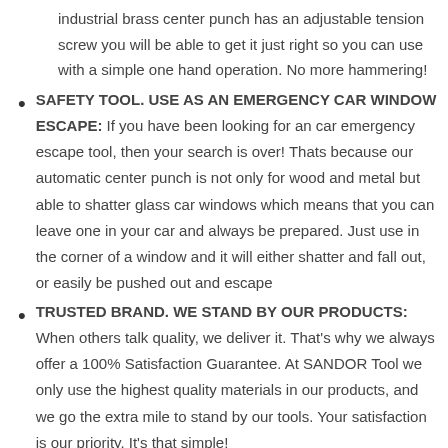industrial brass center punch has an adjustable tension screw you will be able to get it just right so you can use with a simple one hand operation. No more hammering!
SAFETY TOOL. USE AS AN EMERGENCY CAR WINDOW ESCAPE: If you have been looking for an car emergency escape tool, then your search is over! Thats because our automatic center punch is not only for wood and metal but able to shatter glass car windows which means that you can leave one in your car and always be prepared. Just use in the corner of a window and it will either shatter and fall out, or easily be pushed out and escape
TRUSTED BRAND. WE STAND BY OUR PRODUCTS: When others talk quality, we deliver it. That's why we always offer a 100% Satisfaction Guarantee. At SANDOR Tool we only use the highest quality materials in our products, and we go the extra mile to stand by our tools. Your satisfaction is our priority. It's that simple!